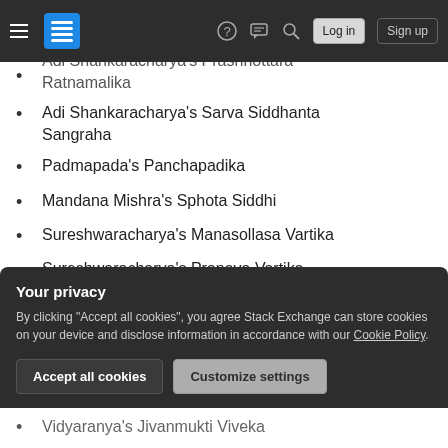Navigation bar with hamburger menu, Stack Exchange logo, help, chat, search icons, Log in and Sign up buttons
Adi Shankaracharya's Prashnottara Ratnamalika
Adi Shankaracharya's Sarva Siddhanta Sangraha
Padmapada's Panchapadika
Mandana Mishra's Sphota Siddhi
Sureshwaracharya's Manasollasa Vartika
Sureshwaracharya's Pranava Vartika
Vachaspati Mishra's Bhamati
Your privacy
By clicking "Accept all cookies", you agree Stack Exchange can store cookies on your device and disclose information in accordance with our Cookie Policy.
Accept all cookies  Customize settings
Vidyaranya's Jivanmukti Viveka